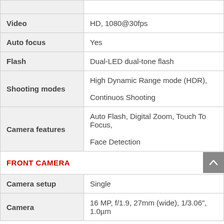| Feature | Value |
| --- | --- |
| Video | HD, 1080@30fps |
| Auto focus | Yes |
| Flash | Dual-LED dual-tone flash |
| Shooting modes | High Dynamic Range mode (HDR), Continuos Shooting |
| Camera features | Auto Flash, Digital Zoom, Touch To Focus, Face Detection |
| FRONT CAMERA |  |
| Camera setup | Single |
| Camera | 16 MP, f/1.9, 27mm (wide), 1/3.06", 1.0µm |